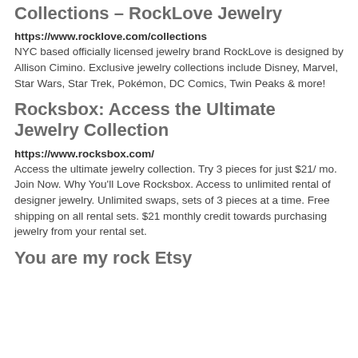Collections – RockLove Jewelry
https://www.rocklove.com/collections
NYC based officially licensed jewelry brand RockLove is designed by Allison Cimino. Exclusive jewelry collections include Disney, Marvel, Star Wars, Star Trek, Pokémon, DC Comics, Twin Peaks & more!
Rocksbox: Access the Ultimate Jewelry Collection
https://www.rocksbox.com/
Access the ultimate jewelry collection. Try 3 pieces for just $21/ mo. Join Now. Why You'll Love Rocksbox. Access to unlimited rental of designer jewelry. Unlimited swaps, sets of 3 pieces at a time. Free shipping on all rental sets. $21 monthly credit towards purchasing jewelry from your rental set.
You are my rock Etsy